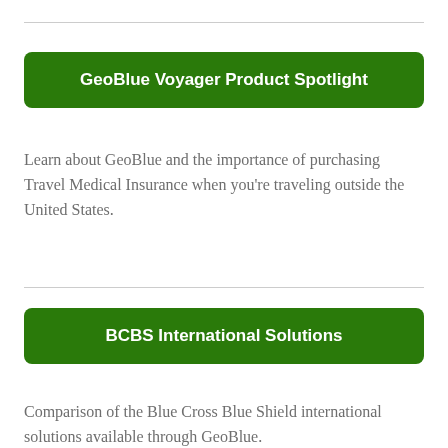GeoBlue Voyager Product Spotlight
Learn about GeoBlue and the importance of purchasing Travel Medical Insurance when you're traveling outside the United States.
BCBS International Solutions
Comparison of the Blue Cross Blue Shield international solutions available through GeoBlue.